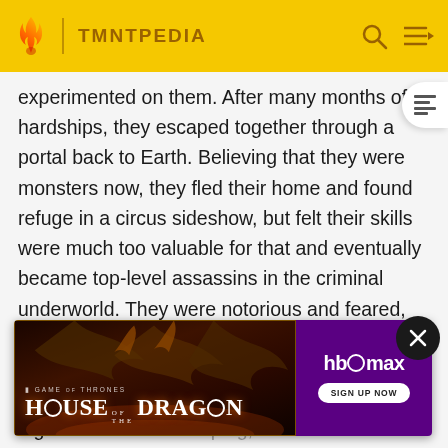TMNTPEDIA
experimented on them. After many months of hardships, they escaped together through a portal back to Earth. Believing that they were monsters now, they fled their home and found refuge in a circus sideshow, but felt their skills were much too valuable for that and eventually became top-level assassins in the criminal underworld. They were notorious and feared, but one day Alopex turned on him attempting to kill him, and the two savagely fought in a lethal duel. The fight resulted in Alopex cutting off Tiger Claw's tail with [obscured by ad] aping, but also [obscured] Although [obscured] ed that her wo[obscured] to some.
[Figure (screenshot): HBO Max advertisement for House of the Dragon (Game of Thrones spinoff) with dragon imagery and purple background with sign up now button]